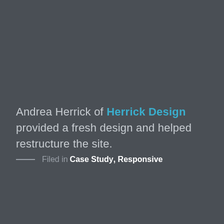Andrea Herrick of Herrick Design provided a fresh design and helped restructure the site.
— Filed in Case Study, Responsive